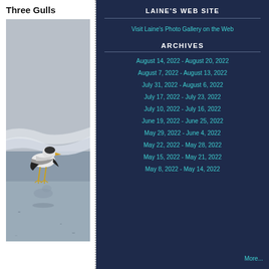Three Gulls
[Figure (photo): A seagull standing on wet sand at the beach with its reflection visible and ocean waves in the background.]
LAINE'S WEB SITE
Visit Laine's Photo Gallery on the Web
ARCHIVES
August 14, 2022 - August 20, 2022
August 7, 2022 - August 13, 2022
July 31, 2022 - August 6, 2022
July 17, 2022 - July 23, 2022
July 10, 2022 - July 16, 2022
June 19, 2022 - June 25, 2022
May 29, 2022 - June 4, 2022
May 22, 2022 - May 28, 2022
May 15, 2022 - May 21, 2022
May 8, 2022 - May 14, 2022
More...